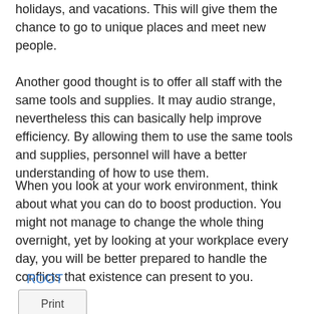holidays, and vacations. This will give them the chance to go to unique places and meet new people.
Another good thought is to offer all staff with the same tools and supplies. It may audio strange, nevertheless this can basically help improve efficiency. By allowing them to use the same tools and supplies, personnel will have a better understanding of how to use them.
When you look at your work environment, think about what you can do to boost production. You might not manage to change the whole thing overnight, yet by looking at your workplace every day, you will be better prepared to handle the conflicts that existence can present to you.
ROOT
Print